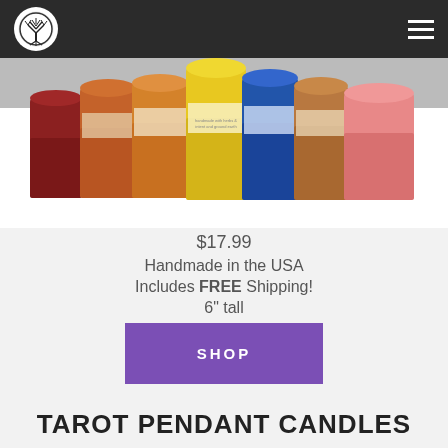[Figure (photo): Navigation bar with tree logo on left and hamburger menu on right, dark background]
[Figure (photo): Multiple colorful candles in jars arranged in a row with decorative labels, on a white background]
$17.99
Handmade in the USA
Includes FREE Shipping!
6" tall
SHOP
TAROT PENDANT CANDLES